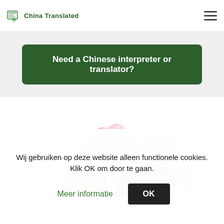China Translated
Need a Chinese interpreter or translator?
[Figure (illustration): Watercolor illustration of pink lotus flowers with green leaves and buds on white background]
Wij gebruiken op deze website alleen functionele cookies. Klik OK om door te gaan.
Meer informatie   OK